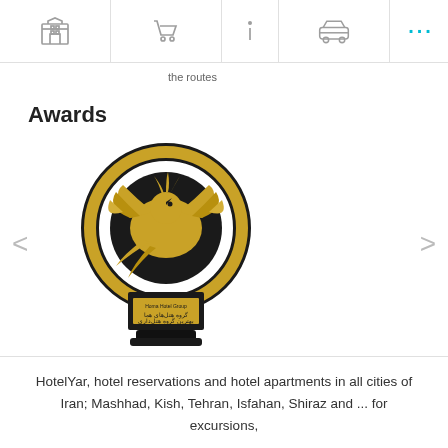[Navigation icons: hotel, cart, info, car, more]
the routes
Awards
[Figure (photo): A gold and black award trophy featuring a Homa (phoenix) bird with wings spread inside a circular frame, mounted on a dark pedestal with Arabic/Persian inscription and 'Homa Hotel Group' text.]
HotelYar, hotel reservations and hotel apartments in all cities of Iran; Mashhad, Kish, Tehran, Isfahan, Shiraz and ... for excursions,